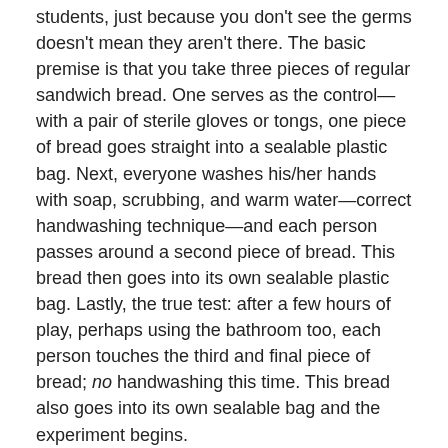students, just because you don't see the germs doesn't mean they aren't there. The basic premise is that you take three pieces of regular sandwich bread. One serves as the control—with a pair of sterile gloves or tongs, one piece of bread goes straight into a sealable plastic bag. Next, everyone washes his/her hands with soap, scrubbing, and warm water—correct handwashing technique—and each person passes around a second piece of bread. This bread then goes into its own sealable plastic bag. Lastly, the true test: after a few hours of play, perhaps using the bathroom too, each person touches the third and final piece of bread; no handwashing this time. This bread also goes into its own sealable bag and the experiment begins.
Surely I don't have to tell you the final results: after a couple of weeks (perhaps sooner in a warm, humid climate), the third piece of bread is covered in mold. Green mold, brown mold, maybe even little yellow mold spots. It is a piece of bread no one would dare eat or even touch.